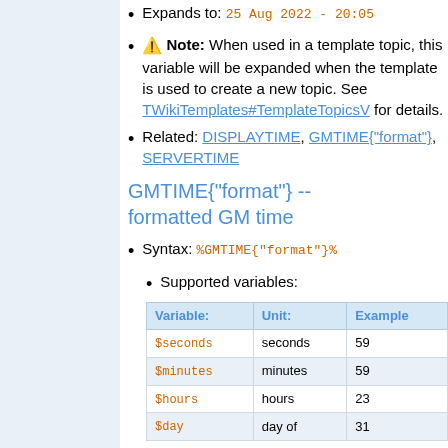Expands to: 25 Aug 2022 - 20:05
⚠ Note: When used in a template topic, this variable will be expanded when the template is used to create a new topic. See TWikiTemplates#TemplateTopicsV for details.
Related: DISPLAYTIME, GMTIME{"format"}, SERVERTIME
GMTIME{"format"} -- formatted GM time
Syntax: %GMTIME{"format"}%
Supported variables:
| Variable: | Unit: | Example |
| --- | --- | --- |
| $seconds | seconds | 59 |
| $minutes | minutes | 59 |
| $hours | hours | 23 |
| $day | day of | 31 |